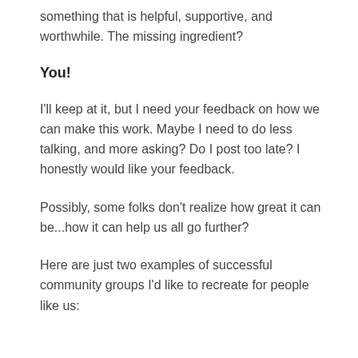something that is helpful, supportive, and worthwhile.  The missing ingredient?
You!
I'll keep at it, but I need your feedback on how we can make this work.  Maybe I need to do less talking, and more asking?  Do I post too late?  I honestly would like your feedback.
Possibly, some folks don't realize how great it can be...how it can help us all go further?
Here are just two examples of successful community groups I'd like to recreate for people like us: